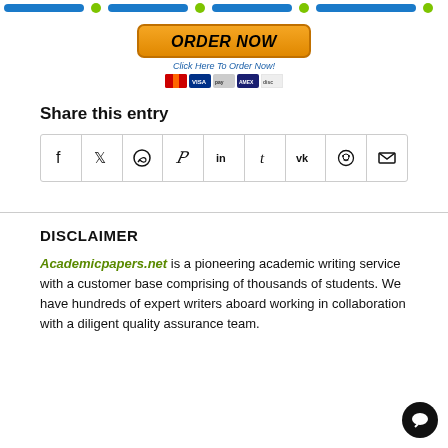[Figure (other): Order Now button with payment icons and navigation bar at the top of the page]
Share this entry
[Figure (other): Social sharing icons grid: Facebook, Twitter, WhatsApp, Pinterest, LinkedIn, Tumblr, VK, Reddit, Email]
DISCLAIMER
Academicpapers.net is a pioneering academic writing service with a customer base comprising of thousands of students. We have hundreds of expert writers aboard working in collaboration with a diligent quality assurance team.